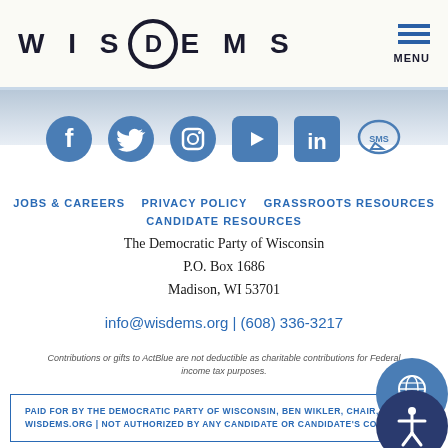[Figure (logo): WISDEMS logo with D in a circle, dark navy text on cream background]
[Figure (infographic): Row of 6 social media icons: Facebook, Twitter, Instagram, YouTube, LinkedIn, SMS]
JOBS & CAREERS   PRIVACY POLICY   GRASSROOTS RESOURCES   CANDIDATE RESOURCES
The Democratic Party of Wisconsin
P.O. Box 1686
Madison, WI 53701
info@wisdems.org | (608) 336-3217
Contributions or gifts to ActBlue are not deductible as charitable contributions for Federal income tax purposes.
PAID FOR BY THE DEMOCRATIC PARTY OF WISCONSIN, BEN WIKLER, CHAIR, WISDEMS.ORG | NOT AUTHORIZED BY ANY CANDIDATE OR CANDIDATE'S COMMITTEE